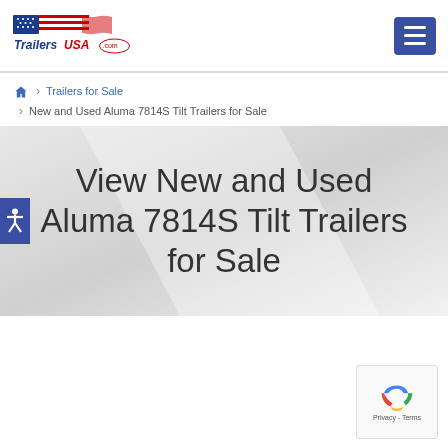[Figure (logo): TrailersUSA.com logo with American flag and red/white/blue text]
[Figure (other): Hamburger menu button (dark blue square with three white lines)]
🏠 > Trailers for Sale > New and Used Aluma 7814S Tilt Trailers for Sale
View New and Used Aluma 7814S Tilt Trailers for Sale
[Figure (other): reCAPTCHA badge with Google logo and Privacy/Terms links]